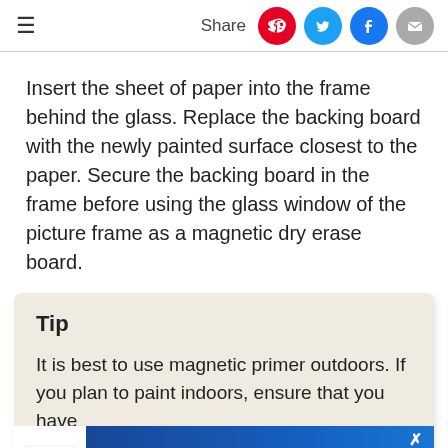≡  Share
Insert the sheet of paper into the frame behind the glass. Replace the backing board with the newly painted surface closest to the paper. Secure the backing board in the frame before using the glass window of the picture frame as a magnetic dry erase board.
Tip
It is best to use magnetic primer outdoors. If you plan to paint indoors, ensure that you have go... ma...